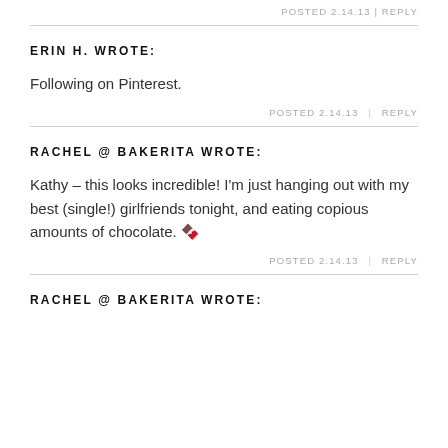POSTED 2.14.13  |  REPLY
ERIN H. WROTE:
Following on Pinterest.
POSTED 2.14.13  |  REPLY
RACHEL @ BAKERITA WROTE:
Kathy – this looks incredible! I'm just hanging out with my best (single!) girlfriends tonight, and eating copious amounts of chocolate. 🍫
POSTED 2.14.13  |  REPLY
RACHEL @ BAKERITA WROTE: